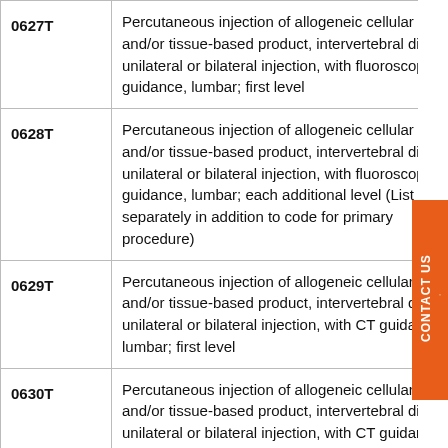| Code | Description |
| --- | --- |
| 0627T | Percutaneous injection of allogeneic cellular and/or tissue-based product, intervertebral disc, unilateral or bilateral injection, with fluoroscopic guidance, lumbar; first level |
| 0628T | Percutaneous injection of allogeneic cellular and/or tissue-based product, intervertebral disc, unilateral or bilateral injection, with fluoroscopic guidance, lumbar; each additional level (List separately in addition to code for primary procedure) |
| 0629T | Percutaneous injection of allogeneic cellular and/or tissue-based product, intervertebral disc, unilateral or bilateral injection, with CT guidance, lumbar; first level |
| 0630T | Percutaneous injection of allogeneic cellular and/or tissue-based product, intervertebral disc, unilateral or bilateral injection, with CT guidance, |